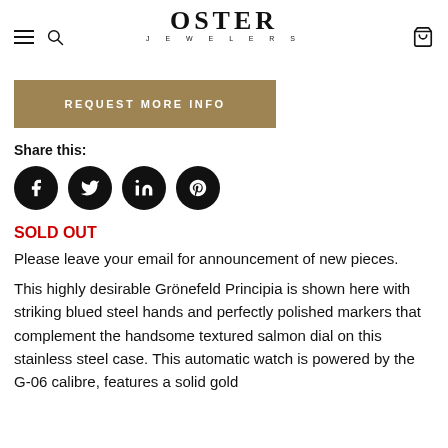OSTER JEWELERS
REQUEST MORE INFO
Share this:
[Figure (other): Social media icons: Facebook, Twitter, LinkedIn, Pinterest — black circles with white icons]
SOLD OUT
Please leave your email for announcement of new pieces.
This highly desirable Grönefeld Principia is shown here with striking blued steel hands and perfectly polished markers that complement the handsome textured salmon dial on this stainless steel case. This automatic watch is powered by the G-06 calibre, features a solid gold 22k oscillating weight, and a 56 h...